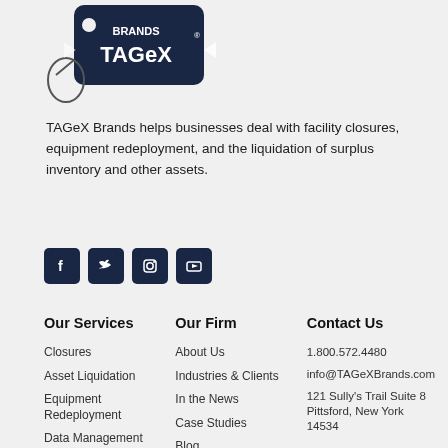[Figure (logo): TAGeX Brands logo — navy blue keychain tag with brand name]
TAGeX Brands helps businesses deal with facility closures, equipment redeployment, and the liquidation of surplus inventory and other assets.
[Figure (infographic): Social media icons: Facebook, Twitter, Instagram, YouTube — dark navy square buttons]
Our Services
Our Firm
Contact Us
Closures
Asset Liquidation
Equipment Redeployment
Data Management
About Us
Industries & Clients
In the News
Case Studies
Blog
1.800.572.4480
info@TAGeXBrands.com
121 Sully's Trail Suite 8 Pittsford, New York 14534